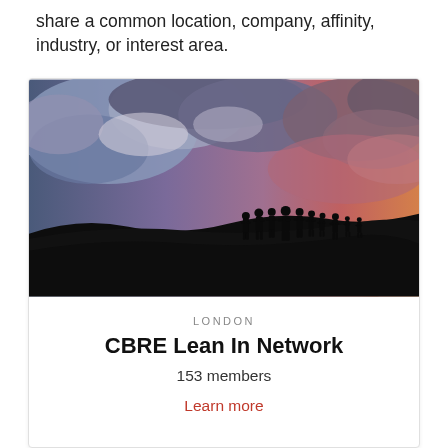share a common location, company, affinity, industry, or interest area.
[Figure (photo): Silhouettes of a group of people standing on a hilltop against a dramatic sunset sky with clouds in shades of blue, purple, and orange-red.]
LONDON
CBRE Lean In Network
153 members
Learn more